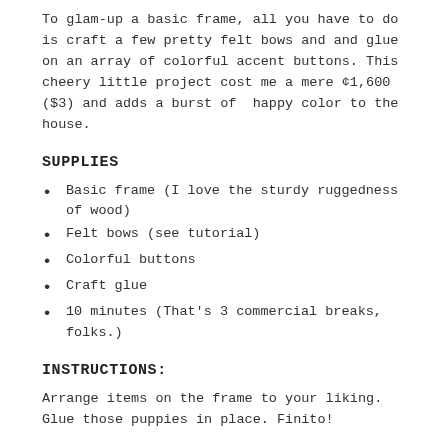To glam-up a basic frame, all you have to do is craft a few pretty felt bows and and glue on an array of colorful accent buttons. This cheery little project cost me a mere ¢1,600 ($3) and adds a burst of happy color to the house.
SUPPLIES
Basic frame (I love the sturdy ruggedness of wood)
Felt bows (see tutorial)
Colorful buttons
Craft glue
10 minutes (That's 3 commercial breaks, folks.)
INSTRUCTIONS:
Arrange items on the frame to your liking. Glue those puppies in place. Finito!